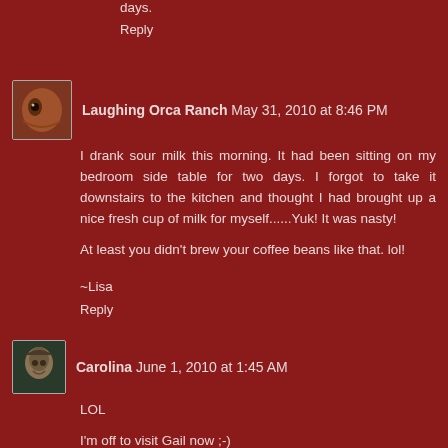days.
Reply
Laughing Orca Ranch  May 31, 2010 at 8:46 PM
I drank sour milk this morning. It had been sitting on my bedroom side table for two days. I forgot to take it downstairs to the kitchen and thought I had brought up a nice fresh cup of milk for myself......Yuk! It was nasty!

At least you didn't brew your coffee beans like that. lol!
~Lisa
Reply
Carolina  June 1, 2010 at 1:45 AM
LOL
I'm off to visit Gail now ;-)